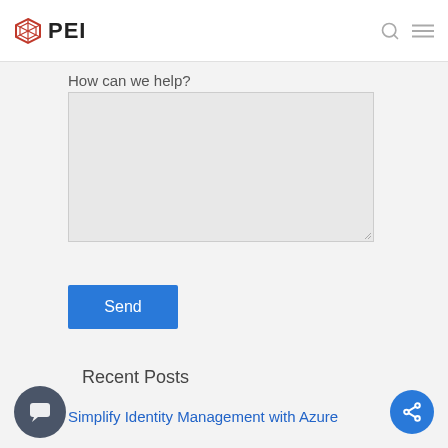PEI
How can we help?
Send
Recent Posts
Simplify Identity Management with Azure